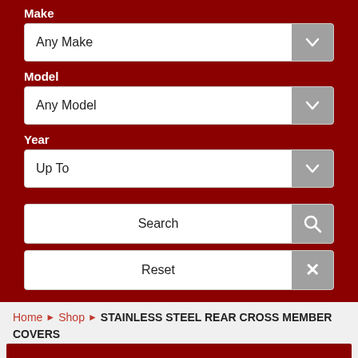Make
Any Make
Model
Any Model
Year
Up To
Search
Reset
Home ▶ Shop ▶ STAINLESS STEEL REAR CROSS MEMBER COVERS